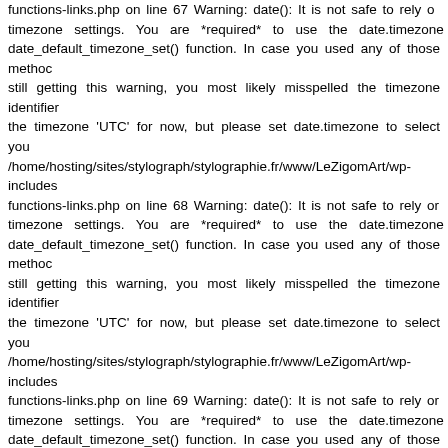functions-links.php on line 67 Warning: date(): It is not safe to rely on timezone settings. You are *required* to use the date.timezone s date_default_timezone_set() function. In case you used any of those metho still getting this warning, you most likely misspelled the timezone identifier the timezone 'UTC' for now, but please set date.timezone to select you /home/hosting/sites/stylograph/stylographie.fr/www/LeZigomArt/wp-includes functions-links.php on line 68 Warning: date(): It is not safe to rely on timezone settings. You are *required* to use the date.timezone s date_default_timezone_set() function. In case you used any of those metho still getting this warning, you most likely misspelled the timezone identifier the timezone 'UTC' for now, but please set date.timezone to select you /home/hosting/sites/stylograph/stylographie.fr/www/LeZigomArt/wp-includes functions-links.php on line 69 Warning: date(): It is not safe to rely on timezone settings. You are *required* to use the date.timezone s date_default_timezone_set() function. In case you used any of those metho still getting this warning, you most likely misspelled the timezone identifier the timezone 'UTC' for now, but please set date.timezone to select you /home/hosting/sites/stylograph/stylographie.fr/www/LeZigomArt/wp-includes functions-links.php on line 70 Warning: date(): It is not safe to rely on timezone settings. You are *required* to use the date.timezone s date_default_timezone_set() function. In case you used any of those metho still getting this warning, you most likely misspelled the timezone identifier the timezone 'UTC' for now, but please set date.timezone to select you /home/hosting/sites/stylograph/stylographie.fr/www/LeZigomArt/wp-includes functions-links.php on line 71 Warning: date(): It is not safe to rely on timezone settings. You are *required* to use the date.timezone s date_default_timezone_set() function. In case you used any of those metho still getting this warning, you most likely misspelled the timezone identifi